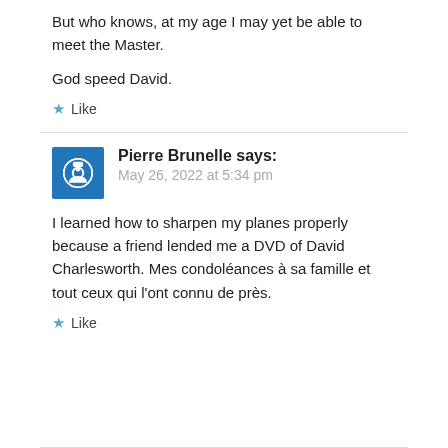But who knows, at my age I may yet be able to meet the Master.
God speed David.
Like
Pierre Brunelle says:
May 26, 2022 at 5:34 pm
I learned how to sharpen my planes properly because a friend lended me a DVD of David Charlesworth. Mes condoléances à sa famille et tout ceux qui l'ont connu de près.
Like